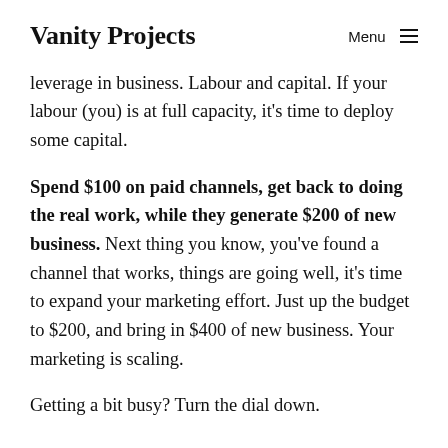Vanity Projects
leverage in business. Labour and capital. If your labour (you) is at full capacity, it’s time to deploy some capital.
Spend $100 on paid channels, get back to doing the real work, while they generate $200 of new business. Next thing you know, you’ve found a channel that works, things are going well, it’s time to expand your marketing effort. Just up the budget to $200, and bring in $400 of new business. Your marketing is scaling.
Getting a bit busy? Turn the dial down.